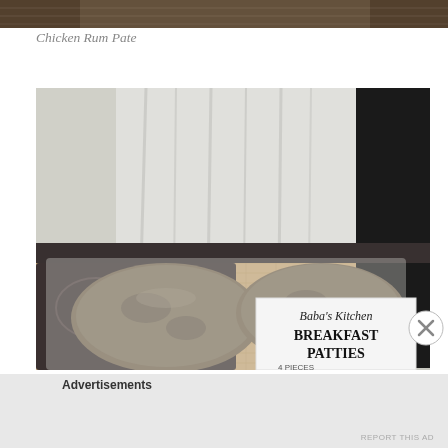[Figure (photo): Top portion of a food photo showing decorative background, partially cropped at top of page]
Chicken Rum Pate
[Figure (photo): Photo of Baba's Kitchen Breakfast Patties in clear plastic packaging, sitting on a woven mat on a table. A white label reads 'Baba's Kitchen BREAKFAST PATTIES' with '4 PIECES' partially visible at the bottom.]
Advertisements